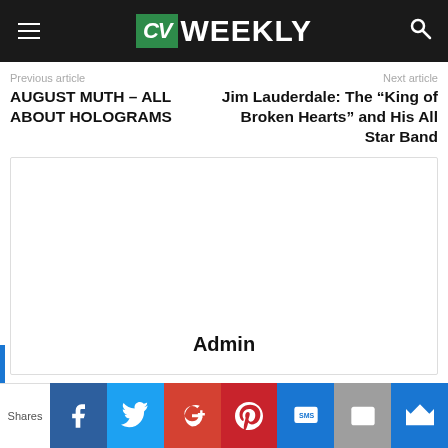CV WEEKLY
Previous article
Next article
AUGUST MUTH – ALL ABOUT HOLOGRAMS
Jim Lauderdale: The “King of Broken Hearts” and His All Star Band
[Figure (other): Author box with Admin label]
Admin
Shares